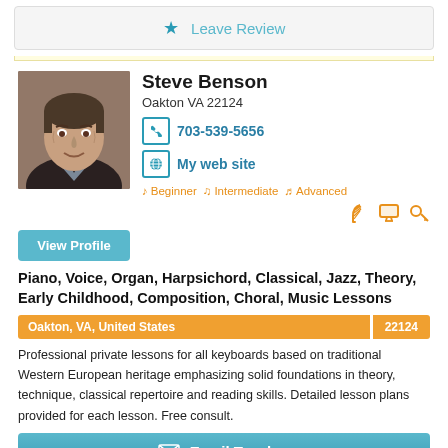Leave Review
[Figure (photo): Profile photo of Steve Benson, middle-aged man in dark jacket]
Steve Benson
Oakton VA 22124
703-539-5656
My web site
Beginner  Intermediate  Advanced
Piano, Voice, Organ, Harpsichord, Classical, Jazz, Theory, Early Childhood, Composition, Choral, Music Lessons
Oakton, VA, United States   22124
Professional private lessons for all keyboards based on traditional Western European heritage emphasizing solid foundations in theory, technique, classical repertoire and reading skills. Detailed lesson plans provided for each lesson. Free consult.
Email Teacher